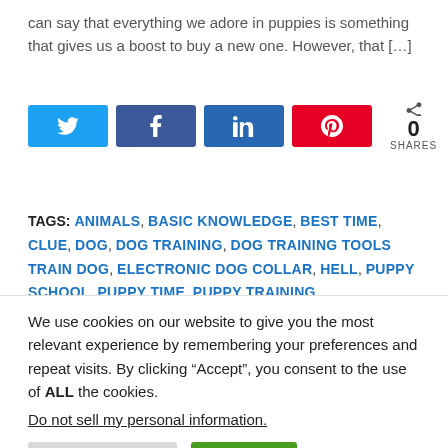can say that everything we adore in puppies is something that gives us a boost to buy a new one. However, that [&hellip;]
[Figure (other): Social share buttons: Twitter, Facebook, LinkedIn, Pinterest, and a share count of 0 SHARES]
TAGS: ANIMALS, BASIC KNOWLEDGE, BEST TIME, CLUE, DOG, DOG TRAINING, DOG TRAINING TOOLS TRAIN DOG, ELECTRONIC DOG COLLAR, HELL, PUPPY SCHOOL, PUPPY TIME, PUPPY TRAINING,
We use cookies on our website to give you the most relevant experience by remembering your preferences and repeat visits. By clicking “Accept”, you consent to the use of ALL the cookies.
Do not sell my personal information.